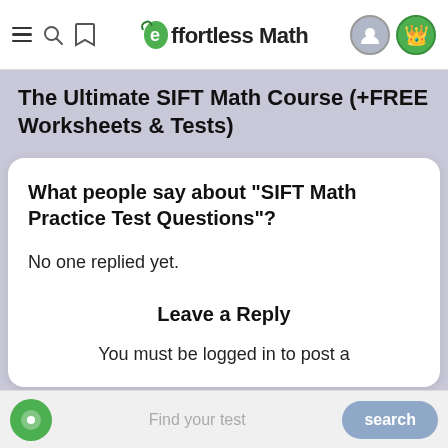Effortless Math — navigation bar with logo, hamburger, search, bookmark, user avatar, and crown icons
The Ultimate SIFT Math Course (+FREE Worksheets & Tests)
What people say about "SIFT Math Practice Test Questions"?
No one replied yet.
Leave a Reply
You must be logged in to post a
Find your test | search